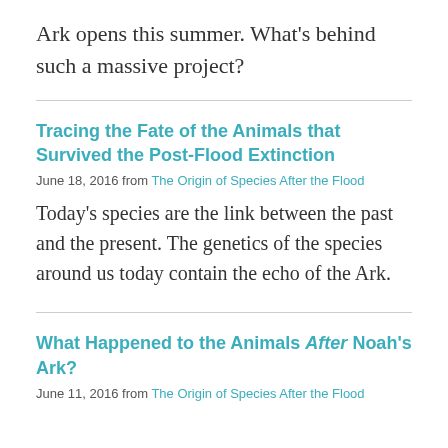Ark opens this summer. What's behind such a massive project?
Tracing the Fate of the Animals that Survived the Post-Flood Extinction
June 18, 2016 from The Origin of Species After the Flood
Today's species are the link between the past and the present. The genetics of the species around us today contain the echo of the Ark.
What Happened to the Animals After Noah's Ark?
June 11, 2016 from The Origin of Species After the Flood